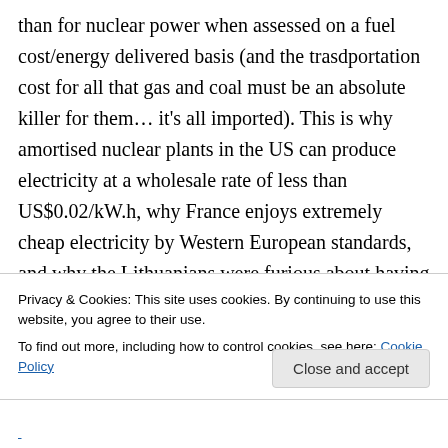than for nuclear power when assessed on a fuel cost/energy delivered basis (and the trasdportation cost for all that gas and coal must be an absolute killer for them… it's all imported). This is why amortised nuclear plants in the US can produce electricity at a wholesale rate of less than US$0.02/kW.h, why France enjoys extremely cheap electricity by Western European standards, and why the Lithuanians were furious about having to shut down Ignalina to comply with EU membership requirements. If
Privacy & Cookies: This site uses cookies. By continuing to use this website, you agree to their use.
To find out more, including how to control cookies, see here: Cookie Policy
Close and accept
(partially visible bottom text)